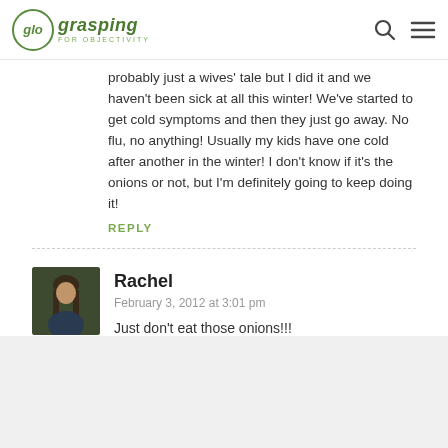glo grasping FOR OBJECTIVITY
probably just a wives' tale but I did it and we haven't been sick at all this winter! We've started to get cold symptoms and then they just go away. No flu, no anything! Usually my kids have one cold after another in the winter! I don't know if it's the onions or not, but I'm definitely going to keep doing it!
REPLY
Rachel
February 3, 2012 at 3:01 pm
[Figure (photo): Avatar photo of commenter Rachel - woman with long brown hair]
Just don't eat those onions!!!